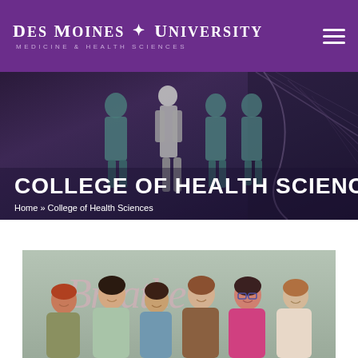Des Moines University Medicine & Health Sciences
[Figure (photo): Hero banner image showing bronze/dark statues or mannequins in medical attire in a lobby with a curved staircase, overlaid with dark purple tint. Text overlay reads COLLEGE OF HEALTH SCIENCES with breadcrumb Home >> College of Health Sciences]
COLLEGE OF HEALTH SCIENCES
Home » College of Health Sciences
[Figure (photo): Group photo of six smiling women standing in front of a light green wall with a decorative script sign reading Breathe. Women are dressed in various casual and professional attire.]